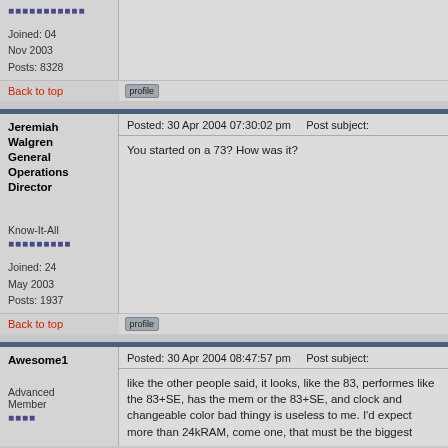Joined: 04 Nov 2003
Posts: 8328
Back to top
Posted: 30 Apr 2004 07:30:02 pm    Post subject:
You started on a 73? How was it?
Jeremiah Walgren
General Operations Director
Know-It-All
Joined: 24 May 2003
Posts: 1937
Back to top
Posted: 30 Apr 2004 08:47:57 pm    Post subject:
like the other people said, it looks, like the 83, performes like the 83+SE, has the mem or the 83+SE, and clock and changeable color bad thingy is useless to me. I'd expect more than 24kRAM, come one, that must be the biggest
Awesome1
Advanced Member